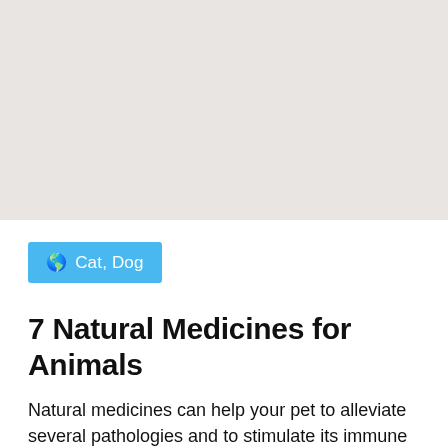[Figure (other): Gray background area at top of page]
Cat, Dog
7 Natural Medicines for Animals
Natural medicines can help your pet to alleviate several pathologies and to stimulate its immune defenses. An approach that attracts more and more